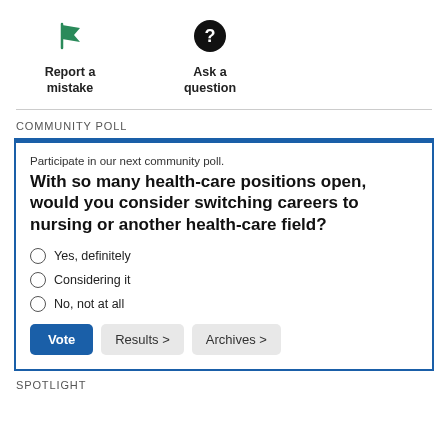[Figure (illustration): Green flag icon representing Report a mistake]
Report a mistake
[Figure (illustration): Question mark circle icon representing Ask a question]
Ask a question
COMMUNITY POLL
Participate in our next community poll.
With so many health-care positions open, would you consider switching careers to nursing or another health-care field?
Yes, definitely
Considering it
No, not at all
Vote   Results >   Archives >
SPOTLIGHT